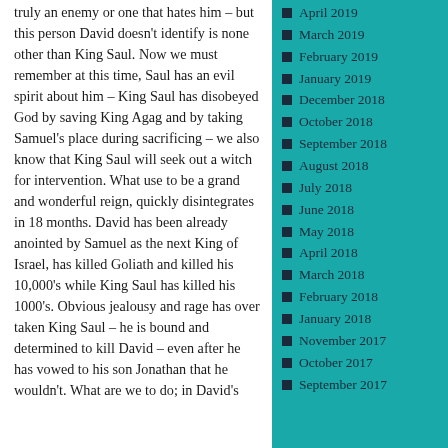truly an enemy or one that hates him – but this person David doesn't identify is none other than King Saul. Now we must remember at this time, Saul has an evil spirit about him – King Saul has disobeyed God by saving King Agag and by taking Samuel's place during sacrificing – we also know that King Saul will seek out a witch for intervention. What use to be a grand and wonderful reign, quickly disintegrates in 18 months.  David has been already anointed by Samuel as the next King of Israel, has killed Goliath and killed his 10,000's while King Saul has killed his 1000's. Obvious jealousy and rage has over taken King Saul – he is bound and determined to kill David – even after he has vowed to his son Jonathan that he wouldn't. What are we to do; in David's
April 2019
March 2019
February 2019
January 2019
December 2018
October 2018
September 2018
August 2018
July 2018
June 2018
May 2018
April 2018
March 2018
February 2018
January 2018
November 2017
October 2017
September 2017